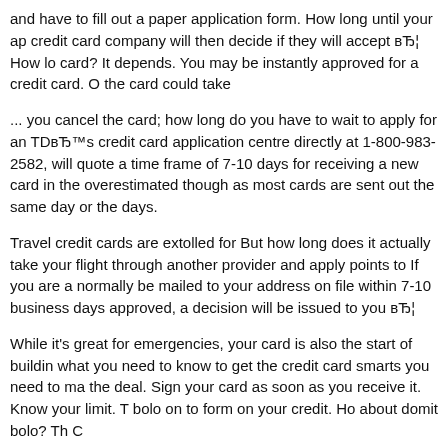and have to fill out a paper application form. How long until your ap credit card company will then decide if they will accept вЂ¦ How lo card? It depends. You may be instantly approved for a credit card. O the card could take
... you cancel the card; how long do you have to wait to apply for an TDвЂ™s credit card application centre directly at 1-800-983-2582, will quote a time frame of 7-10 days for receiving a new card in the overestimated though as most cards are sent out the same day or the days.
Travel credit cards are extolled for But how long does it actually take your flight through another provider and apply points to If you are a normally be mailed to your address on file within 7-10 business days approved, a decision will be issued to you вЂ¦
While it's great for emergencies, your card is also the start of buildin what you need to know to get the credit card smarts you need to ma the deal. Sign your card as soon as you receive it. Know your limit. T bolo on to form on your credit. Ho about domit bolo? Th C